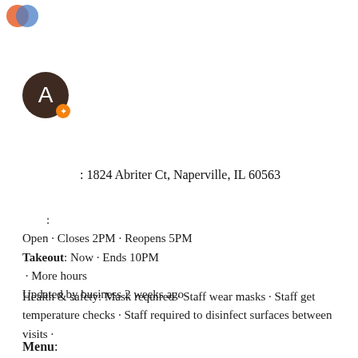[Figure (logo): Small colorful icon/logo in top left corner]
[Figure (logo): Brown circular avatar with letter A and orange badge/star icon]
: 1824 Abriter Ct, Naperville, IL 60563
:
Open · Closes 2PM · Reopens 5PM
Takeout: Now · Ends 10PM
 · More hours
Updated by business 2 weeks ago
Health & safety: Mask required · Staff wear masks · Staff get temperature checks · Staff required to disinfect surfaces between visits ·
Menu: